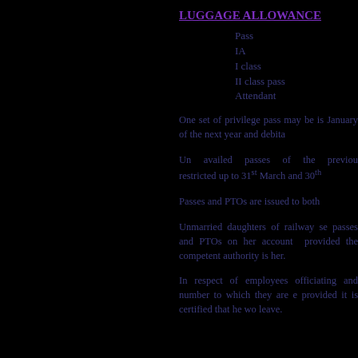LUGGAGE ALLOWANCE
Pass
IA
I class
II class pass
Attendant
One set of privilege pass may be is January of the next year and debita
Un availed passes of the previou restricted up to 31st March and 30th
Passes and PTOs are issued to both
Unmarried daughters of railway se passes and PTOs on her account provided the competent authority is her.
In respect of employees officiating and number to which they are e provided it is certified that he wo leave.